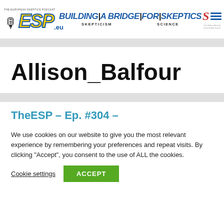[Figure (logo): TheESP - The European Skeptics Podcast logo with microphone icon, yellow ESP letters with blue outline, and .eu suffix]
[Figure (logo): Building A Bridge For Skeptics logo with SKEPTICISM and SCIENCE subtitle]
[Figure (logo): Skeptic Award S icon and hamburger menu icon]
Allison_Balfour
TheESP – Ep. #304 –
We use cookies on our website to give you the most relevant experience by remembering your preferences and repeat visits. By clicking "Accept", you consent to the use of ALL the cookies.
Cookie settings  ACCEPT